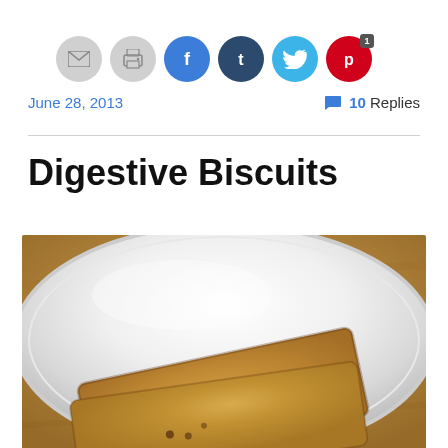[Figure (other): Row of six circular social sharing buttons: email (gray), print (gray), Facebook (blue), Tumblr (dark blue), Twitter (light blue), Pinterest (red with badge '1')]
June 28, 2013
💬 10 Replies
Digestive Biscuits
[Figure (photo): Close-up photo of digestive biscuits on a white plate against a warm wooden background. Two biscuits are visible with a grainy, oat-textured surface and small holes.]